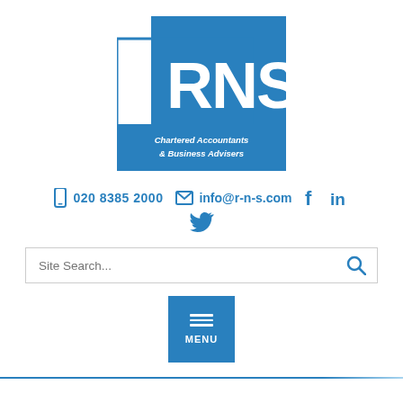[Figure (logo): RNS Chartered Accountants & Business Advisers logo — blue square with white RNS text, with an outlined rectangle overlay, and tagline beneath]
020 8385 2000   info@r-n-s.com
Site Search...
MENU